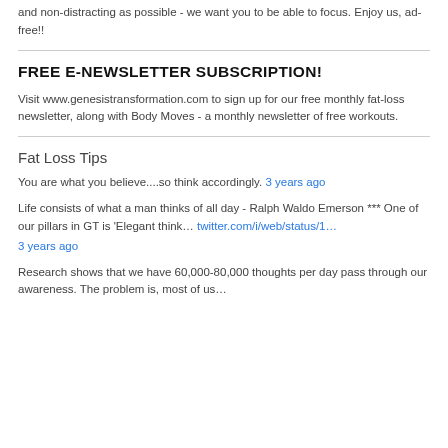and non-distracting as possible - we want you to be able to focus. Enjoy us, ad-free!!
FREE E-NEWSLETTER SUBSCRIPTION!
Visit www.genesistransformation.com to sign up for our free monthly fat-loss newsletter, along with Body Moves - a monthly newsletter of free workouts.
Fat Loss Tips
You are what you believe....so think accordingly. 3 years ago
Life consists of what a man thinks of all day - Ralph Waldo Emerson *** One of our pillars in GT is 'Elegant think… twitter.com/i/web/status/1… 3 years ago
Research shows that we have 60,000-80,000 thoughts per day pass through our awareness. The problem is, most of us…